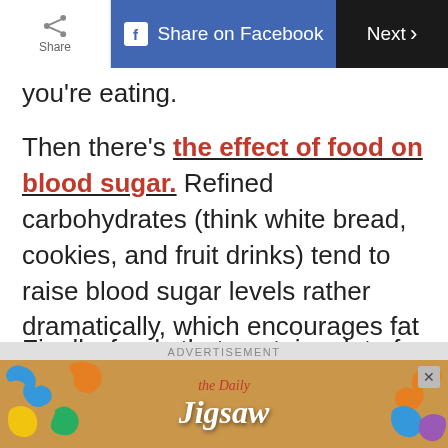Share | Share on Facebook | Next >
you're eating.
Then there's the effect of food on blood sugar. Refined carbohydrates (think white bread, cookies, and fruit drinks) tend to raise blood sugar levels rather dramatically, which encourages fat storage, weight gain, and hunger. On the other hand, fibrous foods like apples, as well as protein foods, not only take more energy to digest but also raise blood sugar less, making them friendlier to your waistline.
Finally, foods that contain a lot of water, such as vegetables and soup, tend to fill the belly on
[Figure (screenshot): Advertisement banner for The Daily Jigsaw puzzle game with puzzle pieces on a tan background]